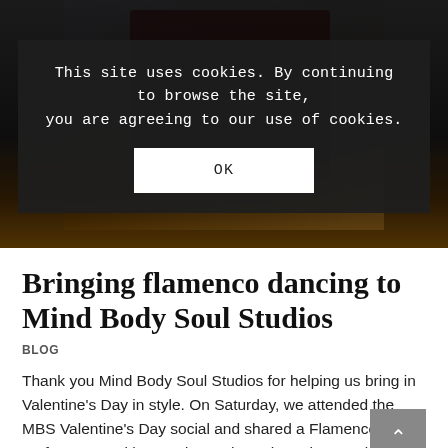[Figure (photo): Photo of flamenco dancers and guitarist performing on stage with pink lighting in background, partially obscured by a cookie consent overlay on a website.]
This site uses cookies. By continuing to browse the site, you are agreeing to our use of cookies.
OK
Bringing flamenco dancing to Mind Body Soul Studios
BLOG
Thank you Mind Body Soul Studios for helping us bring in Valentine's Day in style. On Saturday, we attended the MBS Valentine's Day social and shared a Flamenco performance with attendees. Throughout the evening,